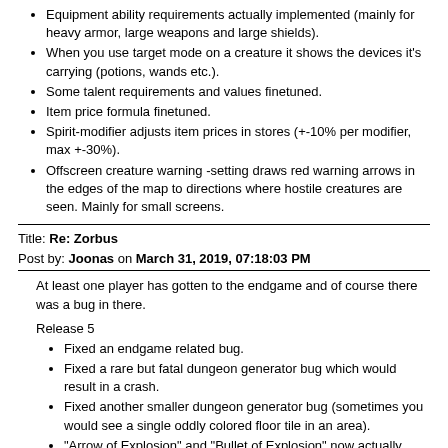Equipment ability requirements actually implemented (mainly for heavy armor, large weapons and large shields).
When you use target mode on a creature it shows the devices it's carrying (potions, wands etc.).
Some talent requirements and values finetuned.
Item price formula finetuned.
Spirit-modifier adjusts item prices in stores (+-10% per modifier, max +-30%).
Offscreen creature warning -setting draws red warning arrows in the edges of the map to directions where hostile creatures are seen. Mainly for small screens.
Title: Re: Zorbus
Post by: Joonas on March 31, 2019, 07:18:03 PM
At least one player has gotten to the endgame and of course there was a bug in there.
Release 5
Fixed an endgame related bug.
Fixed a rare but fatal dungeon generator bug which would result in a crash.
Fixed another smaller dungeon generator bug (sometimes you would see a single oddly colored floor tile in an area).
"Arrow of Explosion" and "Bullet of Explosion" now actually create a 3x3 explosion on the target.